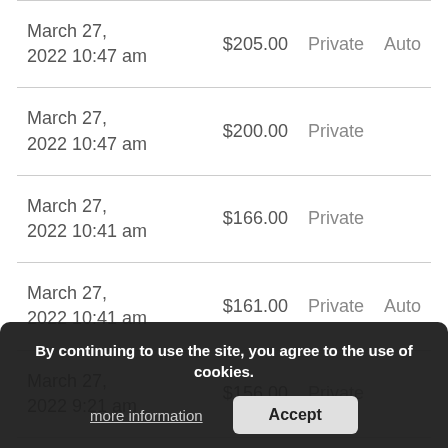| Date | Amount | Type | Tag |
| --- | --- | --- | --- |
| March 27, 2022 10:47 am | $205.00 | Private | Auto |
| March 27, 2022 10:47 am | $200.00 | Private |  |
| March 27, 2022 10:41 am | $166.00 | Private |  |
| March 27, 2022 10:41 am | $161.00 | Private | Auto |
| March 27, 2022 9:21 am | $156.00 | Private |  |
| March 27, 2022 9:21 am | $151.00 | Private | Auto |
By continuing to use the site, you agree to the use of cookies.
more information
Accept